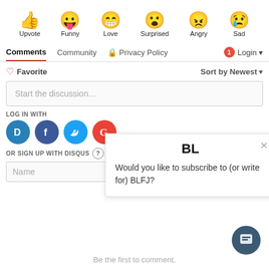[Figure (illustration): Row of emoji reaction icons: thumbs up (Upvote), tongue out face (Funny), heart eyes (Love), surprised face (Surprised), angry face (Angry), sad face with tear (Sad)]
Upvote   Funny   Love   Surprised   Angry   Sad
Comments   Community   🔒 Privacy Policy   1   Login ▾
♡ Favorite
Sort by Newest ▾
Start the discussion…
LOG IN WITH
[Figure (logo): Four social login buttons: Disqus (D), Facebook (f), Twitter bird, Google (G)]
OR SIGN UP WITH DISQUS ?
Name
[Figure (other): Popup card with title BL and text: Would you like to subscribe to (or write for) BLFJ? with a close X button]
[Figure (other): Dark blue chat bubble icon button in bottom right corner]
Be the first to comment.